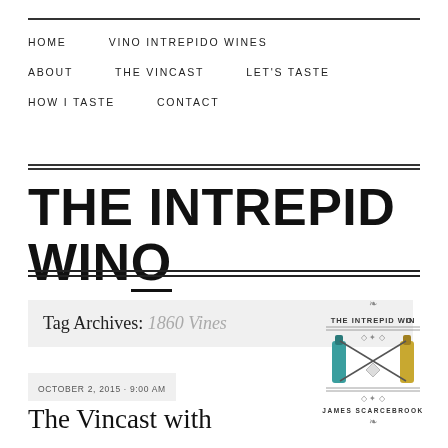HOME   VINO INTREPIDO WINES   ABOUT   THE VINCAST   LET'S TASTE   HOW I TASTE   CONTACT
THE INTREPID WINO
Tag Archives: 1860 Vines
[Figure (logo): The Intrepid Wino logo with James Scarcebrook text, featuring crossed wine bottles and decorative leaf motifs]
OCTOBER 2, 2015 · 9:00 AM
The Vincast with